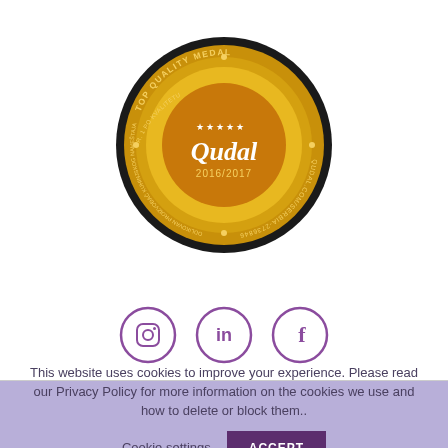[Figure (logo): Qudal Top Quality Medal 2016/2017 badge - circular gold and black medallion with text 'TOP QUALITY MEDAL', stars, 'Qudal', '2016/2017', 'QUDAL.COM/SERBIA-2736846']
[Figure (infographic): Three social media icons in purple circles: Instagram, LinkedIn, Facebook]
This website uses cookies to improve your experience. Please read our Privacy Policy for more information on the cookies we use and how to delete or block them..
Cookie settings   ACCEPT